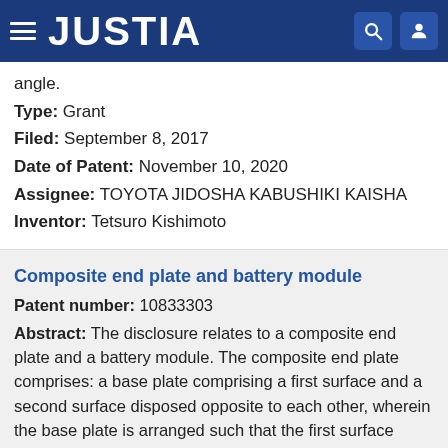JUSTIA
angle.
Type: Grant
Filed: September 8, 2017
Date of Patent: November 10, 2020
Assignee: TOYOTA JIDOSHA KABUSHIKI KAISHA
Inventor: Tetsuro Kishimoto
Composite end plate and battery module
Patent number: 10833303
Abstract: The disclosure relates to a composite end plate and a battery module. The composite end plate comprises: a base plate comprising a first surface and a second surface disposed opposite to each other, wherein the base plate is arranged such that the first surface faces a battery; and a rigid insert, wherein the rigid insert and the base plate are made of different